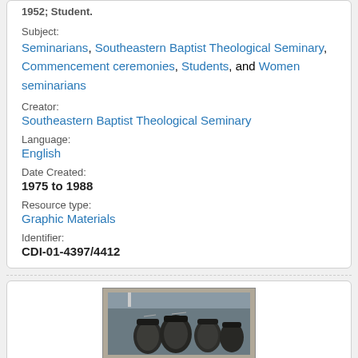1952; Student.
Subject:
Seminarians, Southeastern Baptist Theological Seminary, Commencement ceremonies, Students, and Women seminarians
Creator:
Southeastern Baptist Theological Seminary
Language:
English
Date Created:
1975 to 1988
Resource type:
Graphic Materials
Identifier:
CDI-01-4397/4412
[Figure (photo): Black and white photograph showing people in graduation caps and gowns at a commencement ceremony]